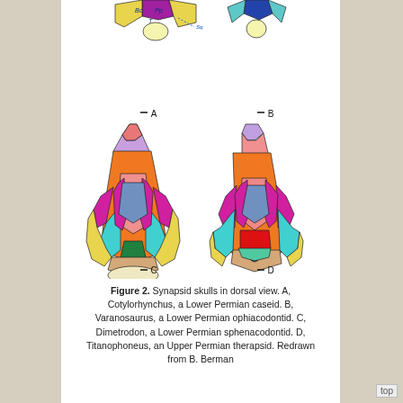[Figure (illustration): Colored dorsal-view illustrations of four synapsid skulls labeled A (top-left, small Cotylorhynchus), B (top-right, small Varanosaurus), C (bottom-left, large Dimetrodon), D (bottom-right, large Titanophoneus). Skulls are shown with colorful bone-coded regions (orange, pink, purple, yellow, magenta, cyan, green, teal, red, blue). Scale bars shown beneath each skull.]
Figure 2. Synapsid skulls in dorsal view. A, Cotylorhynchus, a Lower Permian caseid. B, Varanosaurus, a Lower Permian ophiacodontid. C, Dimetrodon, a Lower Permian sphenacodontid. D, Titanophoneus, an Upper Permian therapsid. Redrawn from B. Berman